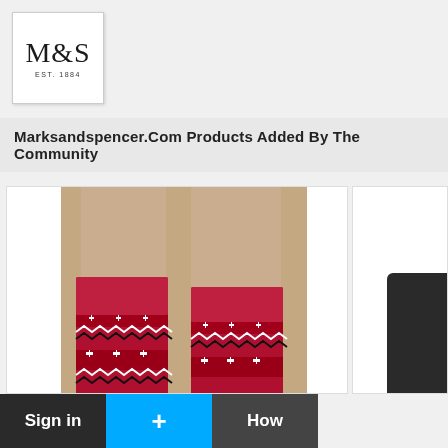[Figure (logo): M&S EST. 1884 logo in a white box with border]
Marksandspencer.Com Products Added By The Community
[Figure (photo): Photo of legs wearing red fair isle knit socks with snowflake pattern]
[Figure (photo): Partial view of a black phone/device (right card, cropped)]
Sign in
+
How